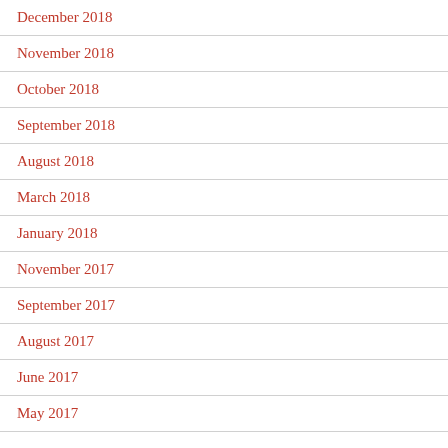December 2018
November 2018
October 2018
September 2018
August 2018
March 2018
January 2018
November 2017
September 2017
August 2017
June 2017
May 2017